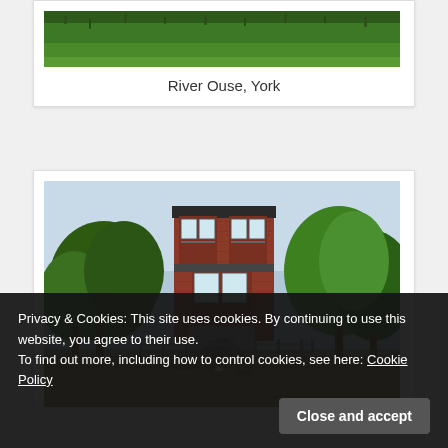[Figure (photo): Photo of grassy riverbank area, partially cropped — River Ouse, York]
River Ouse, York
[Figure (photo): Photo of a red brick Victorian house with bay windows, surrounded by trees, with floodwater in the foreground submerging a fence]
Privacy & Cookies: This site uses cookies. By continuing to use this website, you agree to their use.
To find out more, including how to control cookies, see here: Cookie Policy
Close and accept
If I were to associate a Still Walks with this blog entry, I